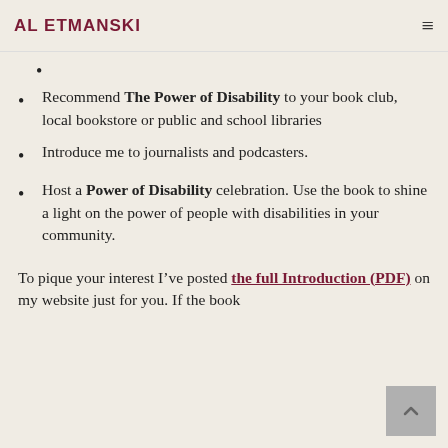AL ETMANSKI
Recommend The Power of Disability to your book club, local bookstore or public and school libraries
Introduce me to journalists and podcasters.
Host a Power of Disability celebration. Use the book to shine a light on the power of people with disabilities in your community.
To pique your interest I've posted the full Introduction (PDF) on my website just for you. If the book